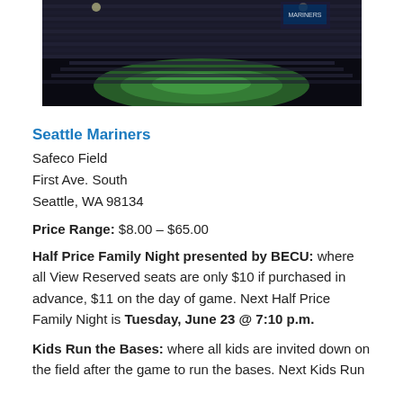[Figure (photo): Aerial/wide-angle view of a baseball stadium (Safeco Field) with crowds in seats and green field visible]
Seattle Mariners
Safeco Field
First Ave. South
Seattle, WA 98134
Price Range: $8.00 – $65.00
Half Price Family Night presented by BECU: where all View Reserved seats are only $10 if purchased in advance, $11 on the day of game. Next Half Price Family Night is Tuesday, June 23 @ 7:10 p.m.
Kids Run the Bases: where all kids are invited down on the field after the game to run the bases. Next Kids Run